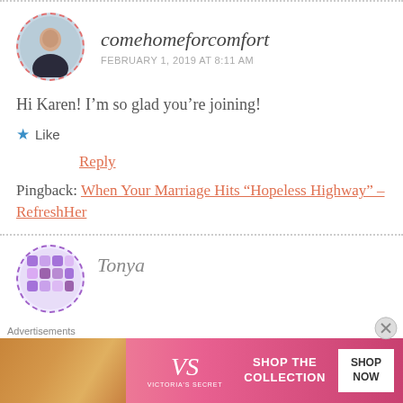comehomeforcomfort
FEBRUARY 1, 2019 AT 8:11 AM
Hi Karen! I’m so glad you’re joining!
★ Like
Reply
Pingback: When Your Marriage Hits “Hopeless Highway” – RefreshHer
Tonya